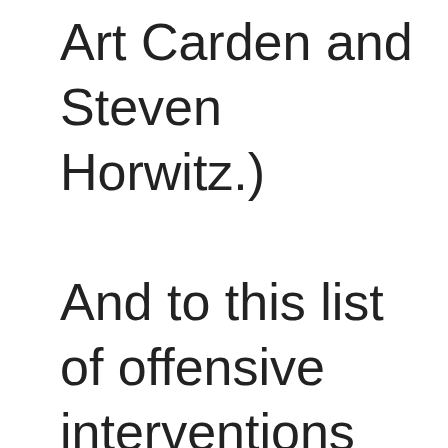Art Carden and Steven Horwitz.) And to this list of offensive interventions let us add immigration